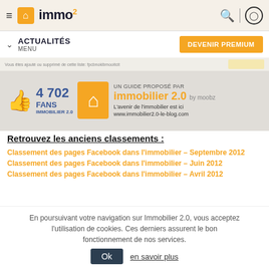immo² — ACTUALITÉS MENU — DEVENIR PREMIUM
[Figure (screenshot): Banner image for immobilier 2.0 guide by moobz, showing Facebook 4702 fans thumb up, orange house logo, text: UN GUIDE PROPOSÉ PAR immobilier 2.0 by moobz, L'avenir de l'immobilier est ici, www.immobilier2.0-le-blog.com]
Retrouvez les anciens classements :
Classement des pages Facebook dans l'immobilier – Septembre 2012
Classement des pages Facebook dans l'immobilier – Juin 2012
Classement des pages Facebook dans l'immobilier – Avril 2012
En poursuivant votre navigation sur Immobilier 2.0, vous acceptez l'utilisation de cookies. Ces derniers assurent le bon fonctionnement de nos services. Ok en savoir plus